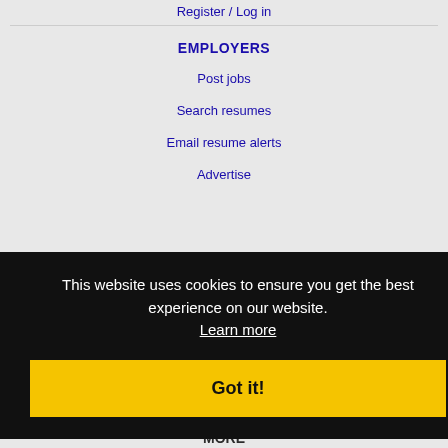Register / Log in
EMPLOYERS
Post jobs
Search resumes
Email resume alerts
Advertise
This website uses cookies to ensure you get the best experience on our website. Learn more
Got it!
IMMIGRATION SPECIALISTS
Post jobs
Immigration FAQs
Learn more
MORE